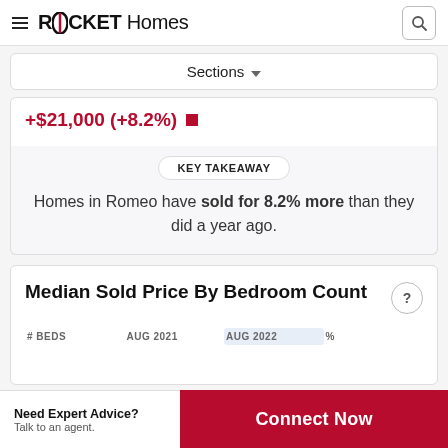ROCKET Homes
Sections
+$21,000 (+8.2%)
KEY TAKEAWAY
Homes in Romeo have sold for 8.2% more than they did a year ago.
Median Sold Price By Bedroom Count
| # BEDS | AUG 2021 | AUG 2022 | % |
| --- | --- | --- | --- |
Need Expert Advice? Talk to an agent.
Connect Now